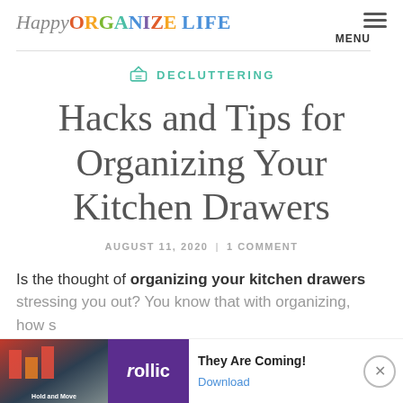Happy ORGANIZED LIFE
DECLUTTERING
Hacks and Tips for Organizing Your Kitchen Drawers
AUGUST 11, 2020 | 1 COMMENT
Is the thought of organizing your kitchen drawers stressing you out? You know that with organizing, how s...